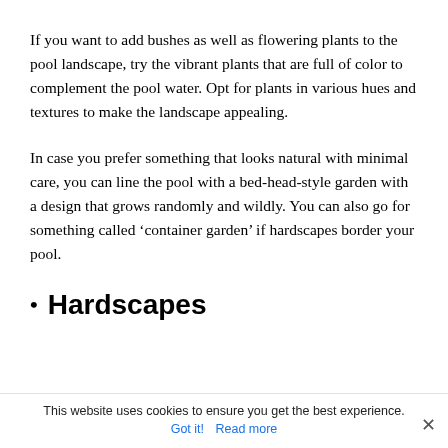If you want to add bushes as well as flowering plants to the pool landscape, try the vibrant plants that are full of color to complement the pool water. Opt for plants in various hues and textures to make the landscape appealing.
In case you prefer something that looks natural with minimal care, you can line the pool with a bed-head-style garden with a design that grows randomly and wildly. You can also go for something called ‘container garden’ if hardscapes border your pool.
Hardscapes
This website uses cookies to ensure you get the best experience. Got it! Read more